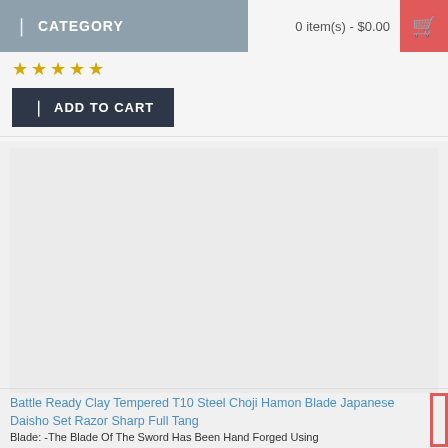CATEGORY | 0 item(s) - $0.00
[Figure (other): Five gold star rating]
ADD TO CART
[Figure (photo): Product image area - blank/loading]
Battle Ready Clay Tempered T10 Steel Choji Hamon Blade Japanese Daisho Set Razor Sharp Full Tang
Blade: -The Blade Of The Sword Has Been Hand Forged Using